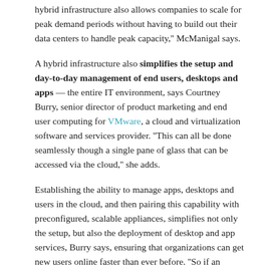hybrid infrastructure also allows companies to scale for peak demand periods without having to build out their data centers to handle peak capacity,'' McManigal says.
A hybrid infrastructure also simplifies the setup and day-to-day management of end users, desktops and apps — the entire IT environment, says Courtney Burry, senior director of product marketing and end user computing for VMware, a cloud and virtualization software and services provider. ''This can all be done seamlessly though a single pane of glass that can be accessed via the cloud,'' she adds.
Establishing the ability to manage apps, desktops and users in the cloud, and then pairing this capability with preconfigured, scalable appliances, simplifies not only the setup, but also the deployment of desktop and app services, Burry says, ensuring that organizations can get new users online faster than ever before. ''So if an educational institution, for example, has a new lab to set up, they can